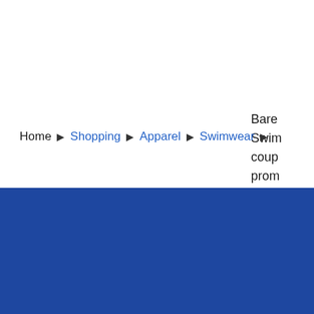Home > Shopping > Apparel > Swimwear > Bare... Swim... coup... prom... code...
Bare Swim coup prom code
[Figure (logo): DealDrop logo: white parachute/lightbulb icon with text DealDrop in white bold font on blue background]
Find the best coupons, deals, promo codes and discounts for thousands of